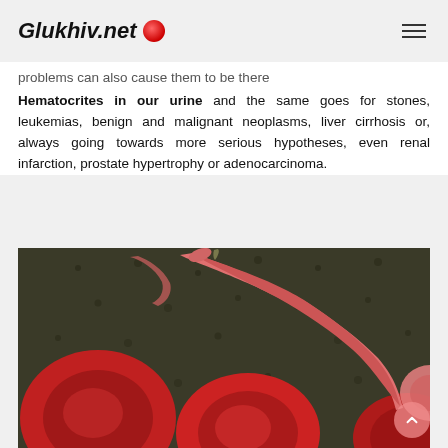Glukhiv.net
problems can also cause them to be there Hematocrites in our urine and the same goes for stones, leukemias, benign and malignant neoplasms, liver cirrhosis or, always going towards more serious hypotheses, even renal infarction, prostate hypertrophy or adenocarcinoma.
[Figure (photo): Microscopic electron scan image of red blood cells, showing round disc-shaped erythrocytes and elongated sickle-shaped cells on a dark background.]